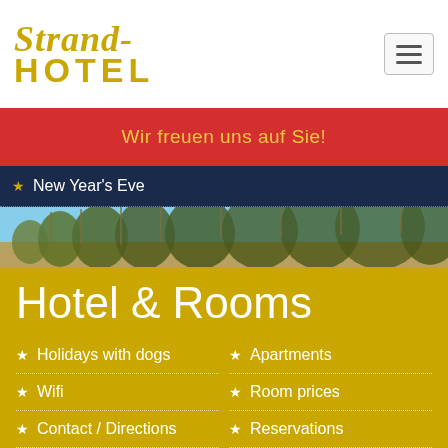Strand-Hotel
Wir freuen uns auf Sie!
New Year's Eve
[Figure (photo): Beach scene with dune grass and blue sky]
Hotel & Rooms
Holidays with dogs
Apartments
Wifi
Room prices
Contact / Directions
Reservations
Double rooms
Reviews
Family rooms